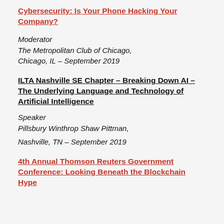Cybersecurity: Is Your Phone Hacking Your Company?
Moderator
The Metropolitan Club of Chicago,
Chicago, IL – September 2019
ILTA Nashville SE Chapter – Breaking Down AI – The Underlying Language and Technology of Artificial Intelligence
Speaker
Pillsbury Winthrop Shaw Pittman,
Nashville, TN – September 2019
4th Annual Thomson Reuters Government Conference: Looking Beneath the Blockchain Hype